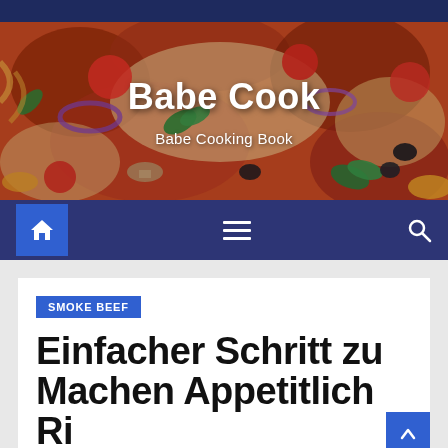[Figure (photo): Website header banner with pizza food photo background showing toppings including tomatoes, basil, olives, onions, and cheese]
Babe Cook
Babe Cooking Book
[Figure (screenshot): Navigation bar with home icon button, hamburger menu icon, and search icon on dark blue background]
SMOKE BEEF
Einfacher Schritt zu Machen Appetitlich Ri...